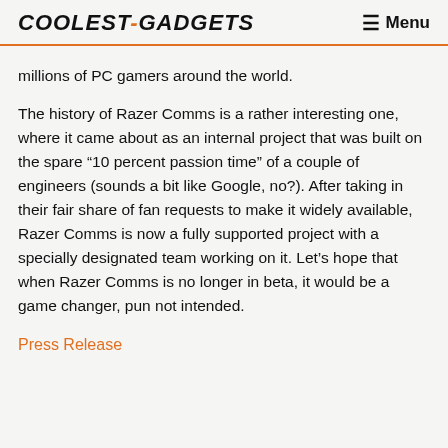COOLEST-GADGETS  Menu
millions of PC gamers around the world.
The history of Razer Comms is a rather interesting one, where it came about as an internal project that was built on the spare “10 percent passion time” of a couple of engineers (sounds a bit like Google, no?). After taking in their fair share of fan requests to make it widely available, Razer Comms is now a fully supported project with a specially designated team working on it. Let’s hope that when Razer Comms is no longer in beta, it would be a game changer, pun not intended.
Press Release